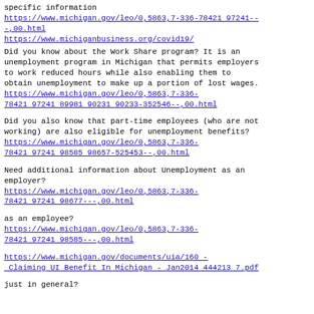specific information
https://www.michigan.gov/leo/0,5863,7-336-78421 97241---,00.html
https://www.michiganbusiness.org/covid19/
Did you know about the Work Share program? It is an unemployment program in Michigan that permits employers to work reduced hours while also enabling them to obtain unemployment to make up a portion of lost wages.
https://www.michigan.gov/leo/0,5863,7-336-78421 97241 89981 90231 90233-352546--,00.html
Did you also know that part-time employees (who are not working) are also eligible for unemployment benefits?
https://www.michigan.gov/leo/0,5863,7-336-78421 97241 98585 98657-525453--,00.html
Need additional information about Unemployment as an employer?
https://www.michigan.gov/leo/0,5863,7-336-78421 97241 98677---,00.html
as an employee?
https://www.michigan.gov/leo/0,5863,7-336-78421 97241 98585---,00.html
https://www.michigan.gov/documents/uia/160 - Claiming UI Benefit In Michigan - Jan2014 444213 7.pdf
just in general?